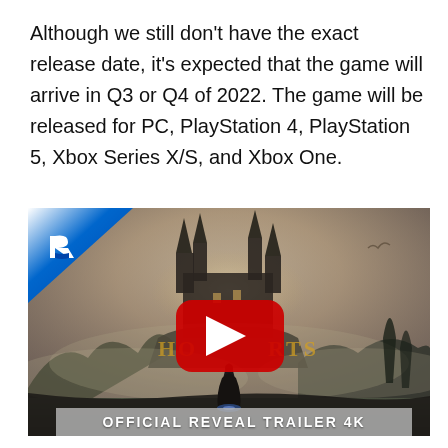Although we still don't have the exact release date, it's expected that the game will arrive in Q3 or Q4 of 2022. The game will be released for PC, PlayStation 4, PlayStation 5, Xbox Series X/S, and Xbox One.
[Figure (screenshot): YouTube video thumbnail for Hogwarts Legacy Official Reveal Trailer 4K, showing a robed figure standing before a dramatic view of Hogwarts castle in misty environment, with PlayStation logo in top-left corner and a red YouTube play button in the center. A banner at the bottom reads OFFICIAL REVEAL TRAILER 4K.]